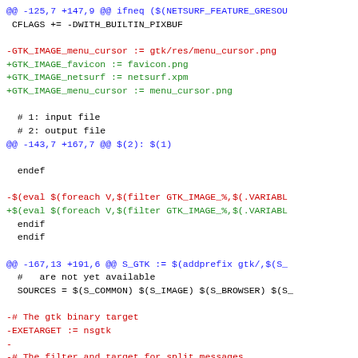@@ -125,7 +147,9 @@ ifneq ($(NETSURF_FEATURE_GRESOU
 CFLAGS += -DWITH_BUILTIN_PIXBUF

-GTK_IMAGE_menu_cursor := gtk/res/menu_cursor.png
+GTK_IMAGE_favicon := favicon.png
+GTK_IMAGE_netsurf := netsurf.xpm
+GTK_IMAGE_menu_cursor := menu_cursor.png

 # 1: input file
 # 2: output file
@@ -143,7 +167,7 @@ $(2): $(1)

 endef

-$(eval $(foreach V,$(filter GTK_IMAGE_%,$(.VARIABL
+$(eval $(foreach V,$(filter GTK_IMAGE_%,$(.VARIABL
 endif
 endif

@@ -167,13 +191,6 @@ S_GTK := $(addprefix gtk/,$(S_
 #   are not yet available
 SOURCES = $(S_COMMON) $(S_IMAGE) $(S_BROWSER) $(S_

-# The gtk binary target
-EXETARGET := nsgtk
-
-# The filter and target for split messages
-MESSAGES_FILTER=gtk